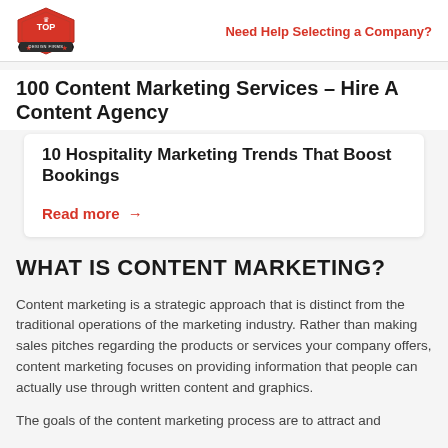Need Help Selecting a Company?
100 Content Marketing Services – Hire A Content Agency
10 Hospitality Marketing Trends That Boost Bookings
Read more →
WHAT IS CONTENT MARKETING?
Content marketing is a strategic approach that is distinct from the traditional operations of the marketing industry. Rather than making sales pitches regarding the products or services your company offers, content marketing focuses on providing information that people can actually use through written content and graphics.
The goals of the content marketing process are to attract and